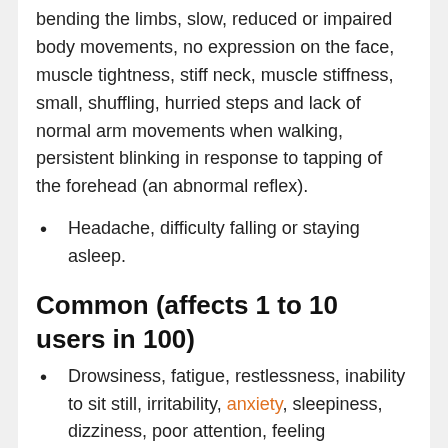bending the limbs, slow, reduced or impaired body movements, no expression on the face, muscle tightness, stiff neck, muscle stiffness, small, shuffling, hurried steps and lack of normal arm movements when walking, persistent blinking in response to tapping of the forehead (an abnormal reflex).
Headache, difficulty falling or staying asleep.
Common (affects 1 to 10 users in 100)
Drowsiness, fatigue, restlessness, inability to sit still, irritability, anxiety, sleepiness, dizziness, poor attention, feeling exhausted, sleep disorder.
Vomiting, diarrhoea, constipation, nausea